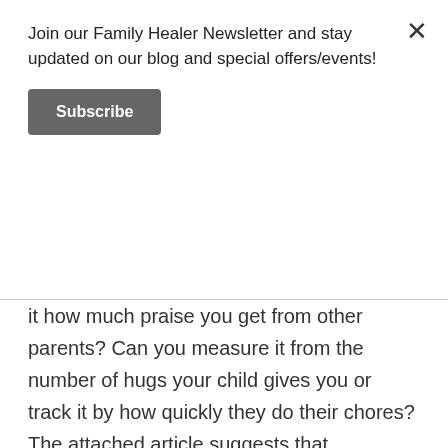Join our Family Healer Newsletter and stay updated on our blog and special offers/events!
Subscribe
it how much praise you get from other parents? Can you measure it from the number of hugs your child gives you or track it by how quickly they do their chores? The attached article suggests that satisfaction in relationships comes as a result of ones internal motivation.
The actual social psychology term is “implicit motives” and seems to a hot research term right now. Implicit motives are fairly stable, unconscious needs that reflect